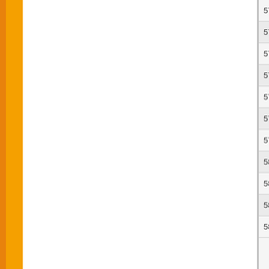| # | Date | Title |
| --- | --- | --- |
| 573. | 28/04/2017 | Pasting for P April/May 20 |
| 574. | 28/04/2017 | Pasting for P April/May 20 |
| 575. | 28/04/2017 | Pasting for P April/May 20 |
| 576. | 28/04/2017 | Pasting for P April/May 20 |
| 577. | 28/04/2017 | Pasting for P April/May 20 |
| 578. | 28/04/2017 | Pasting for P April/May 20 |
| 579. | 26/04/2017 | USOL Practi |
| 580. | 26/04/2017 | PASTING FO CANDIDATE |
| 581. | 26/04/2017 | BA III Annua centres |
| 582. | 26/04/2017 | BA III Annua centres |
| 583. | 26/04/2017 | BA III Annua centres |